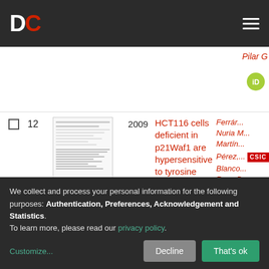DC [logo]
Pilar [truncated]
12  2009  HCT116 cells deficient in p21Waf1 are hypersensitive to tyrosine kinase inhibitors and adriamycin through a mechanism unrelated to  | Ferrán... Nuria M... Martín... Pérez,... Blanco... Rosa D... Doner... Derya... Delga...
We collect and process your personal information for the following purposes: Authentication, Preferences, Acknowledgement and Statistics. To learn more, please read our privacy policy.